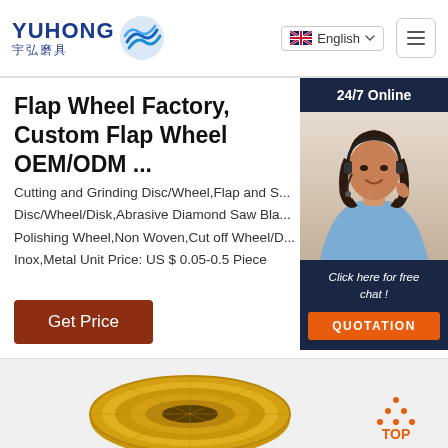YUHONG 宇弘磨具 — English
Flap Wheel Factory, Custom Flap Wheel OEM/ODM ...
Cutting and Grinding Disc/Wheel,Flap and S... Disc/Wheel/Disk,Abrasive Diamond Saw Bla... Polishing Wheel,Non Woven,Cut off Wheel/D... Inox,Metal Unit Price: US $ 0.05-0.5 Piece
Get Price
[Figure (photo): Chat support widget showing '24/7 Online' header, photo of a woman with headset, 'Click here for free chat!' text, and orange QUOTATION button]
[Figure (illustration): Orange dotted triangle 'TOP' scroll-to-top button]
[Figure (photo): Gold/yellow flap wheel product image at the bottom of the page]